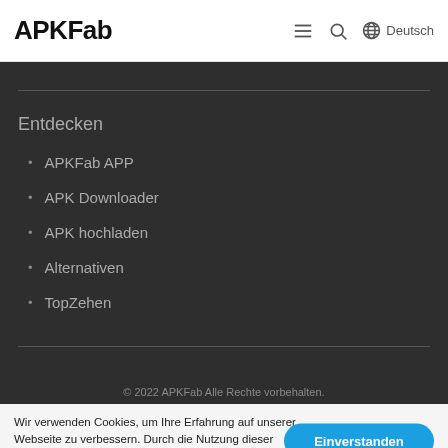APKFab  ≡  🔍  🌐 Deutsch
Entdecken
APKFab APP
APK Downloader
APK hochladen
Alternativen
TopZehen
© 2022 APKFab Alle Rechte vorbehalten.
Wir verwenden Cookies, um Ihre Erfahrung auf unserer Webseite zu verbessern. Durch die Nutzung dieser Webseite stimmen Sie der Verwendung von Cookies zu.
Mehr erfahren